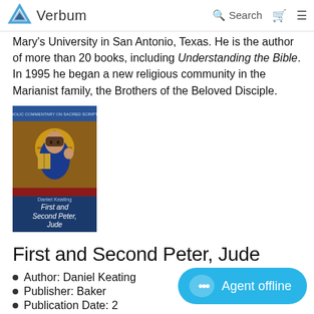Verbum — Search
Mary's University in San Antonio, Texas. He is the author of more than 20 books, including Understanding the Bible. In 1995 he began a new religious community in the Marianist family, the Brothers of the Beloved Disciple.
[Figure (illustration): Book cover for 'First and Second Peter, Jude' by Daniel Keating, showing a Byzantine-style icon of Christ Pantocrator with a gold halo, dark blue and red color scheme, with white title text and series label at top.]
First and Second Peter, Jude
Author: Daniel Keating
Publisher: Baker
Publication Date: 2
Pages: 224
In this volume, Daniel Keating interprets First and